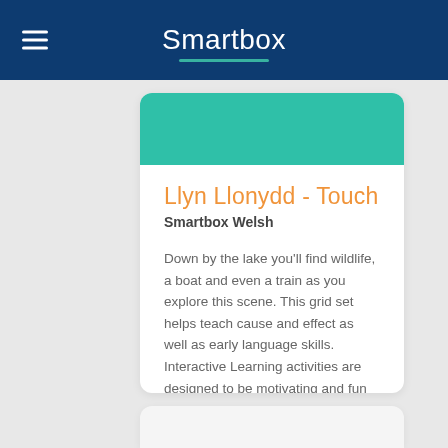Smartbox
[Figure (illustration): Teal/green colored banner image at top of card]
Llyn Llonydd - Touch
Smartbox Welsh
Down by the lake you'll find wildlife, a boat and even a train as you explore this scene. This grid set helps teach cause and effect as well as early language skills. Interactive Learning activities are designed to be motivating and fun while...